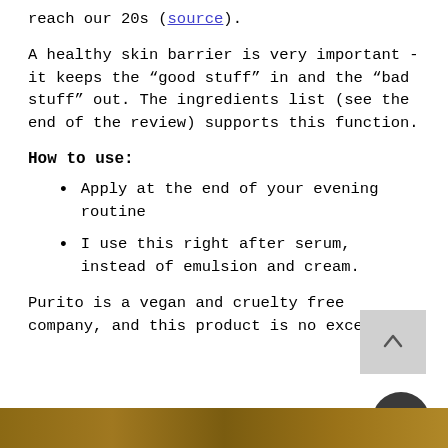reach our 20s (source).
A healthy skin barrier is very important - it keeps the “good stuff” in and the “bad stuff” out. The ingredients list (see the end of the review) supports this function.
How to use:
Apply at the end of your evening routine
I use this right after serum, instead of emulsion and cream.
Purito is a vegan and cruelty free company, and this product is no exception.
[Figure (other): Wooden surface or wood-textured background image strip at the bottom of the page]